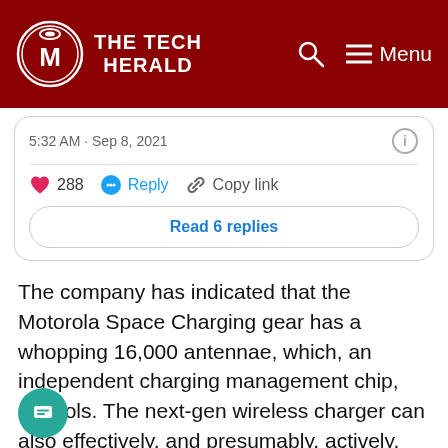THE TECH HERALD
[Figure (screenshot): Embedded tweet card showing timestamp '5:32 AM · Sep 8, 2021', like count 288, Reply and Copy link actions, and a 'Read 6 replies' button]
The company has indicated that the Motorola Space Charging gear has a whopping 16,000 antennae, which, an independent charging management chip, controls. The next-gen wireless charger can also effectively, and presumably, actively, dissipate the internal heat.
Reports also indicate Motorola's new technology can recognize a human body to pause its power automatically to avoid causing harm to humans